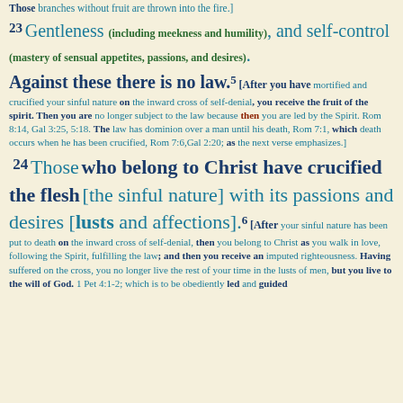Those branches without fruit are thrown into the fire.]
23 Gentleness (including meekness and humility), and self-control (mastery of sensual appetites, passions, and desires).
Against these there is no law.5 [After you have mortified and crucified your sinful nature on the inward cross of self-denial, you receive the fruit of the spirit. Then you are no longer subject to the law because then you are led by the Spirit. Rom 8:14, Gal 3:25, 5:18. The law has dominion over a man until his death, Rom 7:1, which death occurs when he has been crucified, Rom 7:6, Gal 2:20; as the next verse emphasizes.]
24 Those who belong to Christ have crucified the flesh [the sinful nature] with its passions and desires [lusts and affections].6 [After your sinful nature has been put to death on the inward cross of self-denial, then you belong to Christ as you walk in love, following the Spirit, fulfilling the law; and then you receive an imputed righteousness. Having suffered on the cross, you no longer live the rest of your time in the lusts of men, but you live to the will of God. 1 Pet 4:1-2; which is to be obediently led and guided